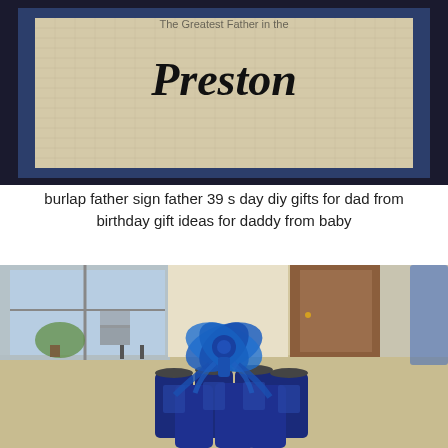[Figure (photo): A framed burlap sign with the name 'Preston' written in black handwritten-style font, surrounded by a dark navy/black picture frame. The burlap background has a textured woven appearance.]
burlap father sign father 39 s day diy gifts for dad from birthday gift ideas for daddy from baby
[Figure (photo): A gift arrangement of blue beer cans (Bud Light or similar) arranged in a circular pattern on the floor of what appears to be an office, topped with a large blue decorative ribbon/bow. The background shows office furniture, windows, and a door.]